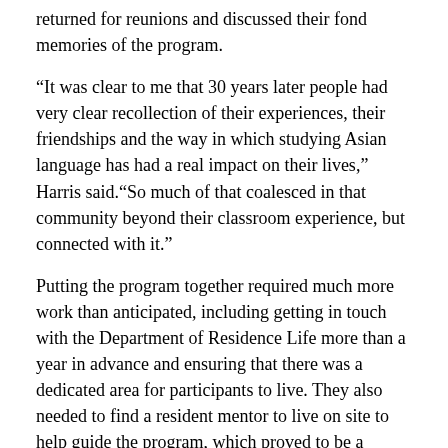returned for reunions and discussed their fond memories of the program.
“It was clear to me that 30 years later people had very clear recollection of their experiences, their friendships and the way in which studying Asian language has had a real impact on their lives,” Harris said.“So much of that coalesced in that community beyond their classroom experience, but connected with it.”
Putting the program together required much more work than anticipated, including getting in touch with the Department of Residence Life more than a year in advance and ensuring that there was a dedicated area for participants to live. They also  needed to find a resident mentor to live on site to help guide the program, which proved to be a simple part of the planning as they decided on former professor Jing Jing Xu.
“I thought she would be ideal because she has taught at New Paltz in the past.,” said Harris. “Since we had an opening for a language instructor anyway here on campus, I said to her ‘wouldn’t it be great if in addition to teaching we might be able to provide you with some housing arrangement? Then in exchange she would serve as the resident mentor